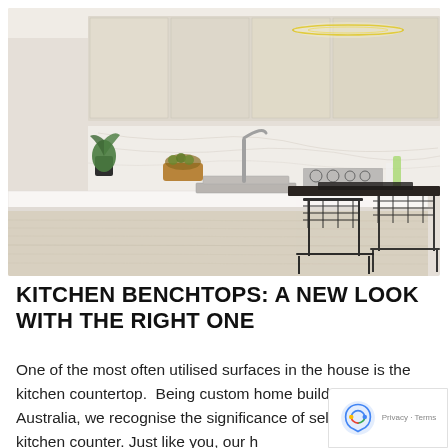[Figure (photo): Modern kitchen with white marble backsplash, light wood cabinetry, white waterfall island countertop, black wire bar stools, stainless steel sink, overhead LED lighting fixture, decorative plants and bottles on the counter.]
KITCHEN BENCHTOPS: A NEW LOOK WITH THE RIGHT ONE
One of the most often utilised surfaces in the house is the kitchen countertop.  Being custom home builders in Australia, we recognise the significance of selecting the best kitchen counter. Just like you, our h...